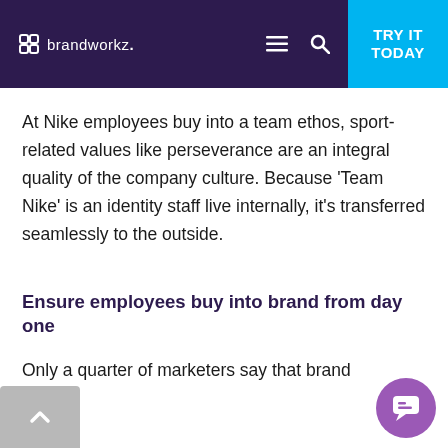brandworkz. TRY IT TODAY
At Nike employees buy into a team ethos, sport-related values like perseverance are an integral quality of the company culture. Because ‘Team Nike’ is an identity staff live internally, it’s transferred seamlessly to the outside.
Ensure employees buy into brand from day one
Only a quarter of marketers say that brand